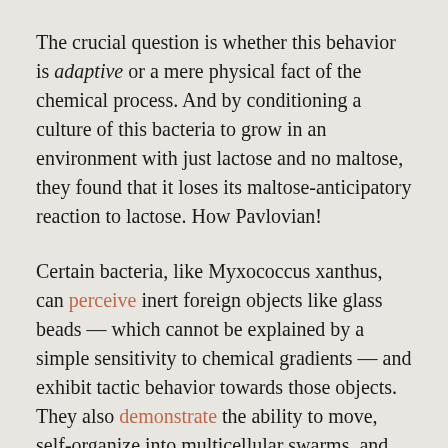The crucial question is whether this behavior is adaptive or a mere physical fact of the chemical process. And by conditioning a culture of this bacteria to grow in an environment with just lactose and no maltose, they found that it loses its maltose-anticipatory reaction to lactose. How Pavlovian!
Certain bacteria, like Myxococcus xanthus, can perceive inert foreign objects like glass beads — which cannot be explained by a simple sensitivity to chemical gradients — and exhibit tactic behavior towards those objects. They also demonstrate the ability to move, self-organize into multicellular swarms, and even prey on other species of bacteria. It appears that life down below is no less interesting than life up above.
Experiments have also shown cognitive...